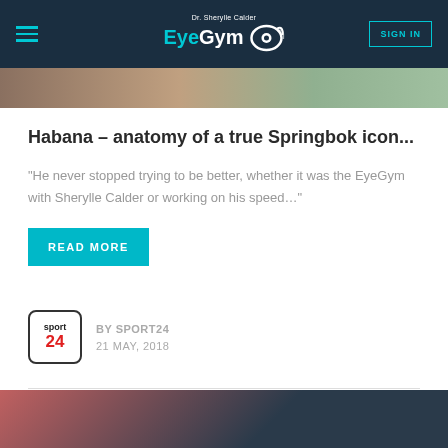Dr. Sherylle Calder EyeGym — SIGN IN
[Figure (photo): Partial photo at top of page, cropped]
Habana – anatomy of a true Springbok icon...
“He never stopped trying to be better, whether it was the EyeGym with Sherylle Calder or working on his speed...”
READ MORE
[Figure (logo): Sport24 logo — sport 24 in box with red number]
BY SPORT24
21 MAY, 2018
[Figure (photo): Partial photo at bottom of page, cropped, showing person with red clothing]